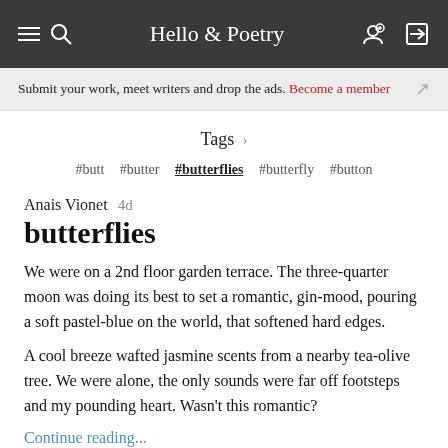Hello & Poetry
Submit your work, meet writers and drop the ads. Become a member
Tags
#butt #butter #butterflies #butterfly #button
Anais Vionet 4d
butterflies
We were on a 2nd floor garden terrace. The three-quarter moon was doing its best to set a romantic, gin-mood, pouring a soft pastel-blue on the world, that softened hard edges.
A cool breeze wafted jasmine scents from a nearby tea-olive tree. We were alone, the only sounds were far off footsteps and my pounding heart. Wasn't this romantic?
Continue reading...